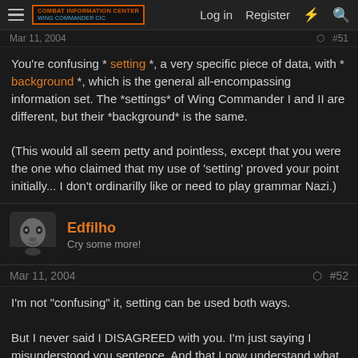Combat Information Center | Log in | Register
Mar 11, 2004   #51
You're confusing * setting *, a very specific piece of data, with * background *, which is the general all-encompassing information set. The *settings* of Wing Commander I and II are different, but their *background* is the same.

(This would all seem petty and pointless, except that you were the one who claimed that my use of 'setting' proved your point initially... I don't ordinarilly like or need to play grammar Nazi.)
Edfilho
Cry some more!
Mar 11, 2004   #52
I'm not "confusing" it, setting can be used both ways.
But I never said I DISAGREED with you. I'm just saying I misunderstood you sentence. And that I now understand what